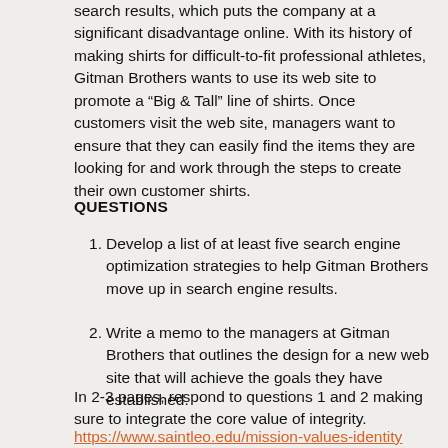search results, which puts the company at a significant disadvantage online. With its history of making shirts for difficult-to-fit professional athletes, Gitman Brothers wants to use its web site to promote a “Big & Tall” line of shirts. Once customers visit the web site, managers want to ensure that they can easily find the items they are looking for and work through the steps to create their own customer shirts.
QUESTIONS
Develop a list of at least five search engine optimization strategies to help Gitman Brothers move up in search engine results.
Write a memo to the managers at Gitman Brothers that outlines the design for a new web site that will achieve the goals they have established.
In 2-3 pages, respond to questions 1 and 2 making sure to integrate the core value of integrity.
https://www.saintleo.edu/mission-values-identity